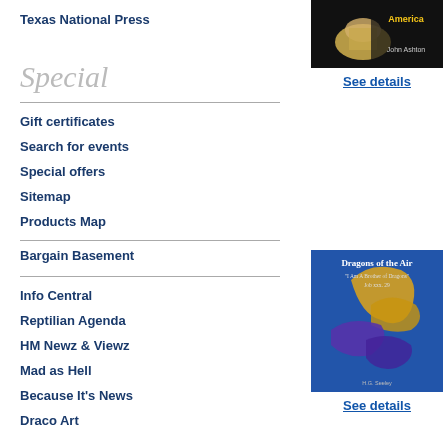Texas National Press
[Figure (illustration): Book cover image for a publication, dark background with bone/fossil imagery and text 'America' and 'John Ashton']
See details
Special
Gift certificates
Search for events
Special offers
Sitemap
Products Map
Bargain Basement
Info Central
Reptilian Agenda
HM Newz & Viewz
Mad as Hell
Because It's News
Draco Art
[Figure (illustration): Book cover 'Dragons of the Air' with subtitle 'I Am A Brother of Dragons, Job xxx. 29', showing dragons in blue/purple tones with a gold dragon, by H.G. Seeley]
See details